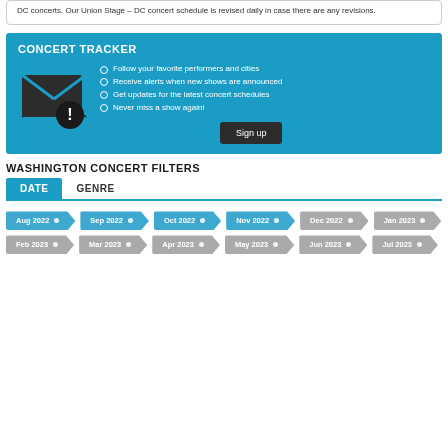DC concerts. Our Union Stage - DC concert schedule is revised daily in case there are any revisions.
CONCERT TRACKER
Follow your favorite performers and cities
Receive alerts when new shows are announced
Get updates for the latest concert schedules
Never miss a show again!
WASHINGTON CONCERT FILTERS
DATE | GENRE tabs
Aug 2022, Sep 2022, Oct 2022, Nov 2022, Dec 2022, Jan 2023, Feb 2023, Mar 2023, Apr 2023, May 2023, Jun 2023, Jul 2023